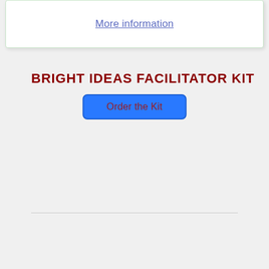More information
BRIGHT IDEAS FACILITATOR KIT
Order the Kit